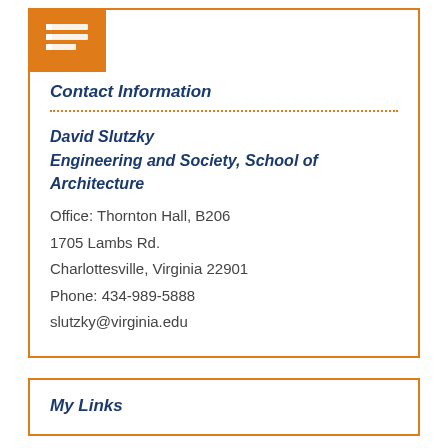[Figure (logo): Orange square icon with white horizontal lines representing a document/list, used as section icon for Contact Information]
Contact Information
David Slutzky
Engineering and Society, School of Architecture
Office: Thornton Hall, B206
1705 Lambs Rd.
Charlottesville, Virginia 22901
Phone: 434-989-5888
slutzky@virginia.edu
My Links